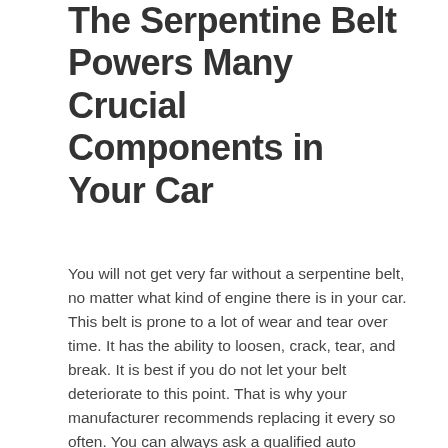The Serpentine Belt Powers Many Crucial Components in Your Car
You will not get very far without a serpentine belt, no matter what kind of engine there is in your car. This belt is prone to a lot of wear and tear over time. It has the ability to loosen, crack, tear, and break. It is best if you do not let your belt deteriorate to this point. That is why your manufacturer recommends replacing it every so often. You can always ask a qualified auto mechanic to inspect it for you if you are not quite sure.